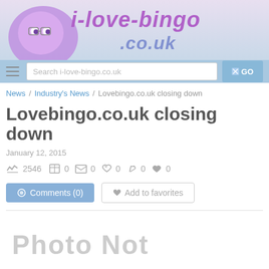[Figure (logo): i-love-bingo.co.uk website logo with cartoon character and purple/blue text on light gradient background]
[Figure (screenshot): Website search bar with 'Search i-love-bingo.co.uk' placeholder text and a GO button on light blue background]
News / Industry's News / Lovebingo.co.uk closing down
Lovebingo.co.uk closing down
January 12, 2015
2546  0  0  0  0  0
Comments (0)   Add to favorites
Photo Not